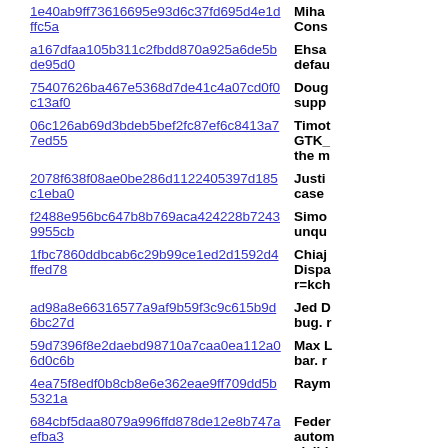1e40ab9ff73616695e93d6c37fd695d4e1dffc5a | Miha... Cons...
a167dfaa105b311c2fbdd870a925a6de5bde95d0 | Ehsa... defau...
75407626ba467e5368d7de41c4a07cd0f0c13af0 | Doug... supp...
06c126ab69d3bdeb5bef2fc87ef6c8413a77ed55 | Timot... GTK_... the m...
2078f638f08ae0be286d1122405397d185c1eba0 | Justi... case
f2488e956bc647b8b769aca424228b72439955cb | Simo... unqu...
1fbc7860ddbcab6c29b99ce1ed2d1592d4ffed78 | Chiaj... Dispa... r=kch...
ad98a8e66316577a9af9b59f3c9c615b9d6bc27d | Jed D... bug. r...
59d7396f8e2daebd98710a7caa0ea112a06d0c6b | Max L... bar. r...
4ea75f8edf0b8cb8e6e362eae9ff709dd5b5321a | Raym...
684cbf5daa8079a996ffd878de12e8b747aefba3 | Feder... autom... visibl...
4fe5735bca9e279ff571e6a308374303d1ab44f4 | Chris... r=kats...
f9424be46f38cdfb877dbf29bf05fefdd195967c | Chris... pop-u...
00119553c0d8c0a49b0f256c0c42fb8eaa8c1298 | Ryan...